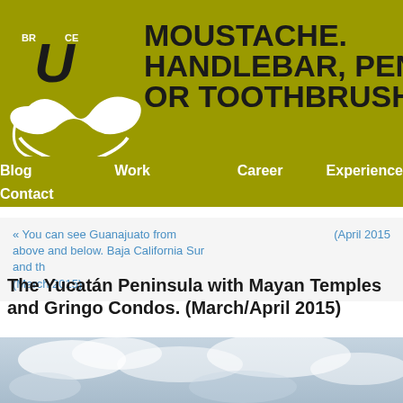[Figure (logo): Bruce logo with stylized U letter and mustache illustration on olive/yellow-green background]
MOUSTACHE. HANDLEBAR, PEN OR TOOTHBRUSH.
Blog  Work  Career  Experience
Contact
« You can see Guanajuato from above and below. Baja California Sur and th…
(March 2015)                                                    (April 2015
The Yucatán Peninsula with Mayan Temples and Gringo Condos. (March/April 2015)
[Figure (photo): Sky with clouds, blue-grey tones, partially shown at bottom of page]